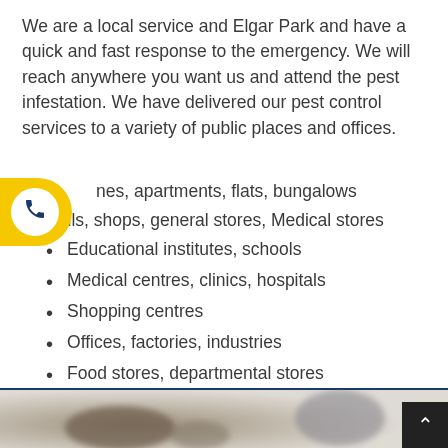We are a local service and Elgar Park and have a quick and fast response to the emergency. We will reach anywhere you want us and attend the pest infestation. We have delivered our pest control services to a variety of public places and offices.
nes, apartments, flats, bungalows
alls, shops, general stores, Medical stores
Educational institutes, schools
Medical centres, clinics, hospitals
Shopping centres
Offices, factories, industries
Food stores, departmental stores
Child care and aged care centres
[Figure (photo): Partial bottom strip showing a blurred close-up photo of what appears to be insects or pests, with a dark scroll-to-top button in the bottom right corner.]